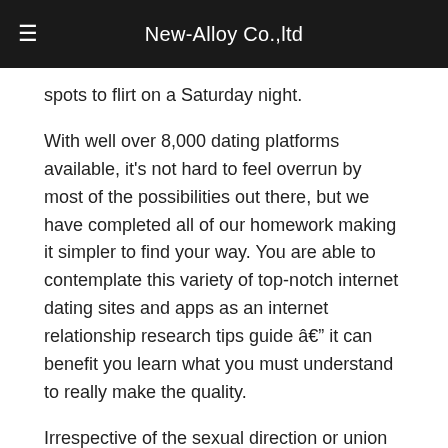New-Alloy Co.,ltd
spots to flirt on a Saturday night.
With well over 8,000 dating platforms available, it's not hard to feel overrun by most of the possibilities out there, but we have completed all of our homework making it simpler to find your way. You are able to contemplate this variety of top-notch internet dating sites and apps as an internet relationship research tips guide â it can benefit you learn what you must understand to really make the quality.
Irrespective of the sexual direction or union objectives, available an internet dating system that provides both you and provides your romantic passions at heart.
Navigate This Information:
In case you are an university student or a recent grad, you are probably selecting a free dating site or application that will familiarizes you with dates without leading you to remove